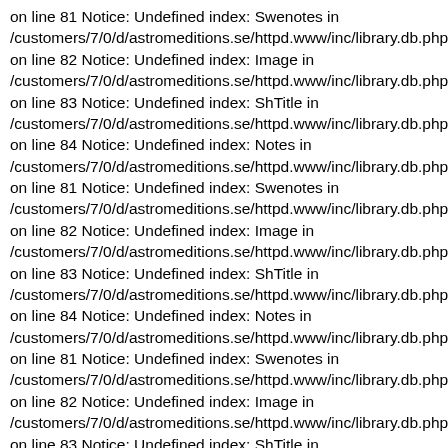on line 81 Notice: Undefined index: Swenotes in /customers/7/0/d/astromeditions.se/httpd.www/inc/library.db.php on line 82 Notice: Undefined index: Image in /customers/7/0/d/astromeditions.se/httpd.www/inc/library.db.php on line 83 Notice: Undefined index: ShTitle in /customers/7/0/d/astromeditions.se/httpd.www/inc/library.db.php on line 84 Notice: Undefined index: Notes in /customers/7/0/d/astromeditions.se/httpd.www/inc/library.db.php on line 81 Notice: Undefined index: Swenotes in /customers/7/0/d/astromeditions.se/httpd.www/inc/library.db.php on line 82 Notice: Undefined index: Image in /customers/7/0/d/astromeditions.se/httpd.www/inc/library.db.php on line 83 Notice: Undefined index: ShTitle in /customers/7/0/d/astromeditions.se/httpd.www/inc/library.db.php on line 84 Notice: Undefined index: Notes in /customers/7/0/d/astromeditions.se/httpd.www/inc/library.db.php on line 81 Notice: Undefined index: Swenotes in /customers/7/0/d/astromeditions.se/httpd.www/inc/library.db.php on line 82 Notice: Undefined index: Image in /customers/7/0/d/astromeditions.se/httpd.www/inc/library.db.php on line 83 Notice: Undefined index: ShTitle in /customers/7/0/d/astromeditions.se/httpd.www/inc/library.db.php on line 84 Notice: Undefined index: Notes in /customers/7/0/d/astromeditions.se/httpd.www/inc/library.db.php on line 81 Notice: Undefined index: Swenotes in